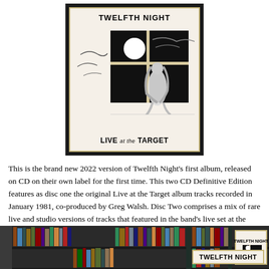[Figure (illustration): Album cover for Twelfth Night 'Live at the Target'. Black-framed cover with inner gold border on cream background. Shows a woman figure looking through a four-pane window into a dark night sky with a moon. Text 'TWELFTH NIGHT' at top and 'LIVE at TARGET' at bottom.]
This is the brand new 2022 version of Twelfth Night's first album, released on CD on their own label for the first time. This two CD Definitive Edition features as disc one the original Live at the Target album tracks recorded in January 1981, co-produced by Greg Walsh. Disc Two comprises a mix of rare live and studio versions of tracks that featured in the band's live set at the time.
[Figure (photo): Partial photo of bookshelves/CD shelves in a dark room, with another Twelfth Night album cover visible at bottom right.]